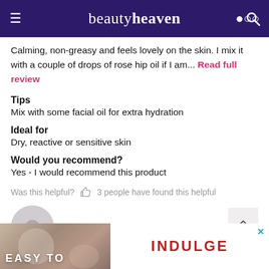beautyheaven
Calming, non-greasy and feels lovely on the skin. I mix it with a couple of drops of rose hip oil if I am... Read full review
Tips
Mix with some facial oil for extra hydration
Ideal for
Dry, reactive or sensitive skin
Would you recommend?
Yes - I would recommend this product
Was this helpful?  3 people have found this helpful
[Figure (illustration): User avatar placeholder circle with person silhouette, and scroll-to-top button]
Jess32
[Figure (infographic): Advertisement banner: EASY TO INDULGE with close button]